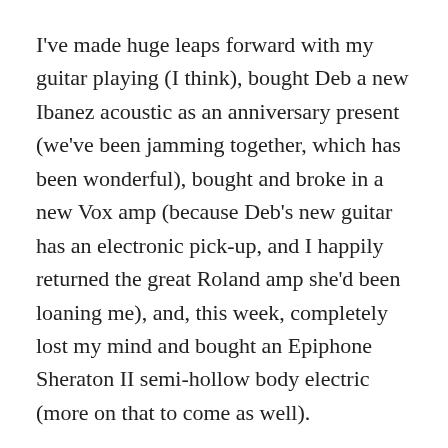I've made huge leaps forward with my guitar playing (I think), bought Deb a new Ibanez acoustic as an anniversary present (we've been jamming together, which has been wonderful), bought and broke in a new Vox amp (because Deb's new guitar has an electronic pick-up, and I happily returned the great Roland amp she'd been loaning me), and, this week, completely lost my mind and bought an Epiphone Sheraton II semi-hollow body electric (more on that to come as well).
Plus the car blew up and needed major repairs, we had a small dinner party for my yearly winter dish, Beef Bourguignon, and, after writing three full-length plays in two years, I decided to take a break from playwriting…to write a non-fiction book (and stil more on that down the road, naturally). In my spare time, I managed to begin